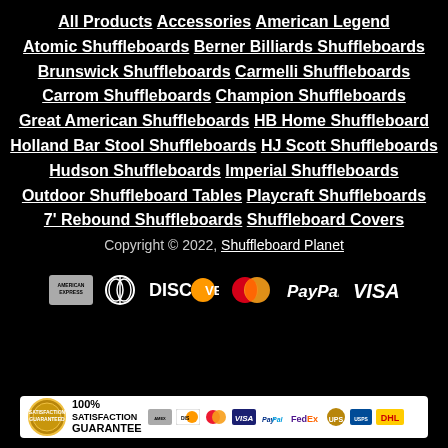All Products Accessories American Legend Atomic Shuffleboards Berner Billiards Shuffleboards Brunswick Shuffleboards Carmelli Shuffleboards Carrom Shuffleboards Champion Shuffleboards Great American Shuffleboards HB Home Shuffleboard Holland Bar Stool Shuffleboards HJ Scott Shuffleboards Hudson Shuffleboards Imperial Shuffleboards Outdoor Shuffleboard Tables Playcraft Shuffleboards 7' Rebound Shuffleboards Shuffleboard Covers
Copyright © 2022, Shuffleboard Planet
[Figure (infographic): Payment method logos: American Express, Diners Club, Discover, MasterCard, PayPal, VISA]
[Figure (infographic): 100% Satisfaction Guarantee banner with payment logos and shipping carrier logos: FedEx, UPS, USPS, DHL]